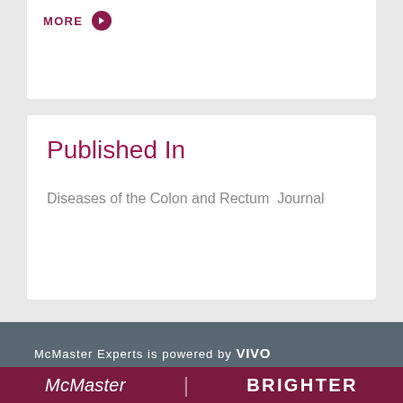MORE
Published In
Diseases of the Colon and Rectum  Journal
McMaster Experts is powered by VIVO | About | Capability Map | Contact Us | Index | Login | Terms of Use
McMaster | BRIGHTER